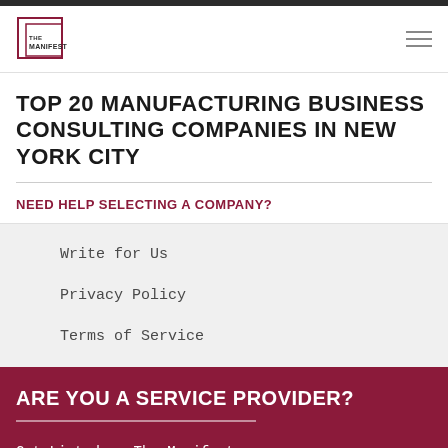THE MANIFEST
TOP 20 MANUFACTURING BUSINESS CONSULTING COMPANIES IN NEW YORK CITY
NEED HELP SELECTING A COMPANY?
Write for Us
Privacy Policy
Terms of Service
ARE YOU A SERVICE PROVIDER?
Get Listed on The Manifest
Advertising Opportunities